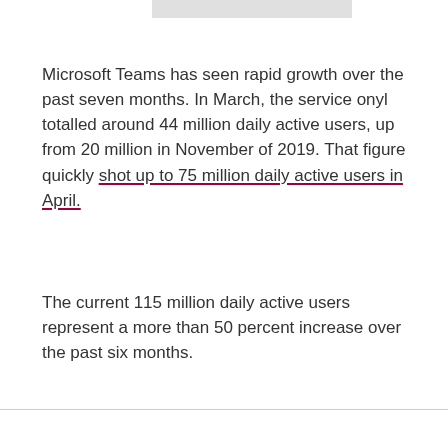Microsoft Teams has seen rapid growth over the past seven months. In March, the service onyl totalled around 44 million daily active users, up from 20 million in November of 2019. That figure quickly shot up to 75 million daily active users in April.
The current 115 million daily active users represent a more than 50 percent increase over the past six months.